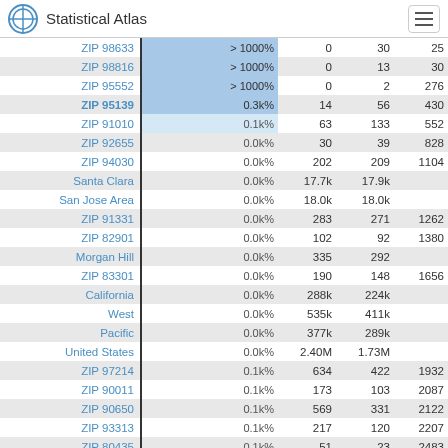Statistical Atlas
| Name | Bar | N1 | N2 | N3 |
| --- | --- | --- | --- | --- |
| ZIP 98633 | > 1000% | 0 | 30 | 25 |
| ZIP 98816 | > 1000% | 0 | 13 | 30 |
| ZIP 95552 | > 1000% | 0 | 2 | 276 |
| ZIP 95139 | 0.3k% | 14 | 56 | 430 |
| ZIP 91010 | 0.1k% | 63 | 133 | 552 |
| ZIP 92655 | 0.0k% | 30 | 39 | 828 |
| ZIP 94030 | 0.0k% | 202 | 209 | 1104 |
| Santa Clara | 0.0k% | 17.7k | 17.9k |  |
| San Jose Area | 0.0k% | 18.0k | 18.0k |  |
| ZIP 91331 | 0.0k% | 283 | 271 | 1262 |
| ZIP 82901 | 0.0k% | 102 | 92 | 1380 |
| Morgan Hill | 0.0k% | 335 | 292 |  |
| ZIP 83301 | 0.0k% | 190 | 148 | 1656 |
| California | 0.0k% | 288k | 224k |  |
| West | 0.0k% | 535k | 411k |  |
| Pacific | 0.0k% | 377k | 289k |  |
| United States | 0.0k% | 2.40M | 1.73M |  |
| ZIP 97214 | 0.1k% | 634 | 422 | 1932 |
| ZIP 90011 | 0.1k% | 173 | 103 | 2087 |
| ZIP 90650 | 0.1k% | 569 | 331 | 2122 |
| ZIP 93313 | 0.1k% | 217 | 120 | 2207 |
| ZIP 80435 | 0.1k% | 51 | 23 | 2483 |
| ZIP 93562 | 0.2k% | 9 | 3 | 2759 |
| ZIP 90201 | 0.3k% | 427 | 114 | 2879 |
| ZIP 82935 | 0.5k% | 133 | 21 | 3035 |
| ZIP 82421 | > 1000% | 6 | 0 | 3211 |